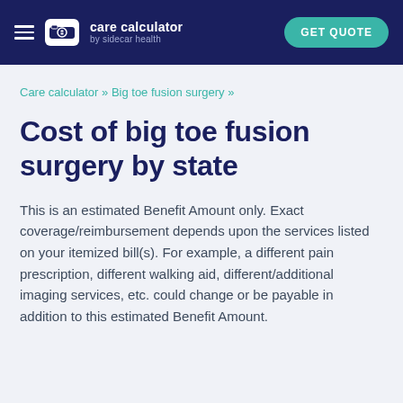care calculator by sidecar health | GET QUOTE
Care calculator » Big toe fusion surgery »
Cost of big toe fusion surgery by state
This is an estimated Benefit Amount only. Exact coverage/reimbursement depends upon the services listed on your itemized bill(s). For example, a different pain prescription, different walking aid, different/additional imaging services, etc. could change or be payable in addition to this estimated Benefit Amount.